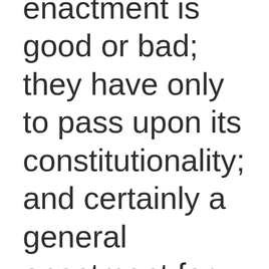enactment is good or bad; they have only to pass upon its constitutionality; and certainly a general enactment for the